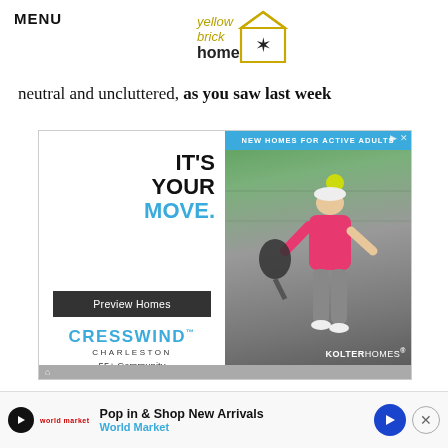MENU
[Figure (logo): Yellow Brick Home logo with stylized house outline and star]
neutral and uncluttered, as you saw last week
[Figure (other): Advertisement for Cresswind Charleston 55+ Community by Kolter Homes. Left panel: IT'S YOUR MOVE. Preview Homes button. CRESSWIND CHARLESTON 55+ Community. Right panel: Photo of woman playing pickleball with overlay 'NEW HOMES FOR ACTIVE ADULTS']
In our minds, we can imagine how the room is
goin... in part...
[Figure (other): Bottom banner ad: Pop in & Shop New Arrivals - World Market]